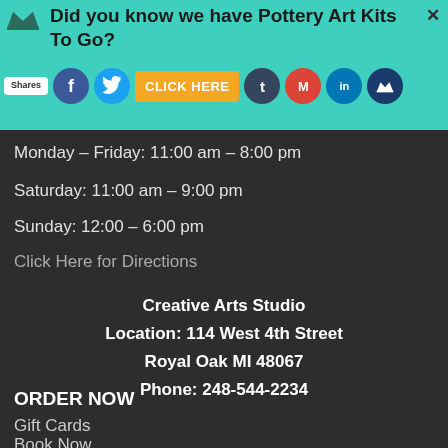[Figure (screenshot): Top teal banner with social share icons including Facebook, Twitter, Pinterest, Tumblr, Gmail, LinkedIn, and a crown icon. An orange 'CLICK HERE' button is visible in the center. A Shares badge is on the left.]
Did you know we have Pottery Art Kits To Go?
Monday – Friday: 11:00 am – 8:00 pm
Saturday: 11:00 am – 9:00 pm
Sunday: 12:00 – 6:00 pm
Click Here for Directions
Creative Arts Studio
Location: 114 West 4th Street
Royal Oak MI 48067
Phone: 248-544-2234
ORDER NOW
Gift Cards
Book Now